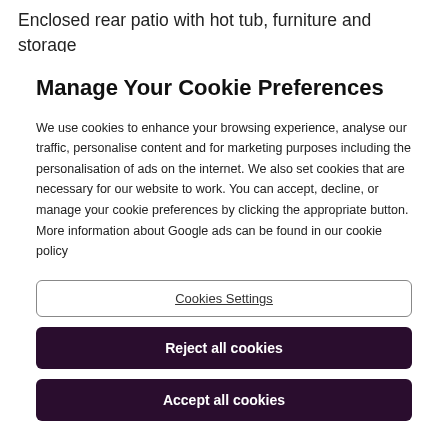Enclosed rear patio with hot tub, furniture and storage
Garage for bikes or canoes.
Manage Your Cookie Preferences
We use cookies to enhance your browsing experience, analyse our traffic, personalise content and for marketing purposes including the personalisation of ads on the internet. We also set cookies that are necessary for our website to work. You can accept, decline, or manage your cookie preferences by clicking the appropriate button. More information about Google ads can be found in our cookie policy
Cookies Settings
Reject all cookies
Accept all cookies